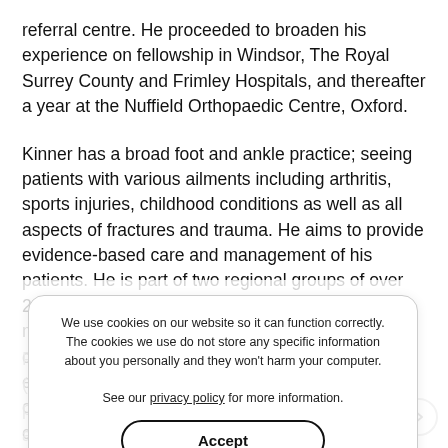referral centre. He proceeded to broaden his experience on fellowship in Windsor, The Royal Surrey County and Frimley Hospitals, and thereafter a year at the Nuffield Orthopaedic Centre, Oxford.
Kinner has a broad foot and ankle practice; seeing patients with various ailments including arthritis, sports injuries, childhood conditions as well as all aspects of fractures and trauma. He aims to provide evidence-based care and management of his patients. He is part of two regional groups of over 20 foot and ankle surgeons that meet regularly to discuss difficult and complex cases. This ensures that an appropriate and safe management of challenging and uncommon cases can be sought from fellow experts and trusted colleagues.
We use cookies on our website so it can function correctly. The cookies we use do not store any specific information about you personally and they won't harm your computer.

See our privacy policy for more information.
Accept
Prior to registrar training, Kinner completed a MD (Res) postdoctoral thesis in computer-aided and arthrotic